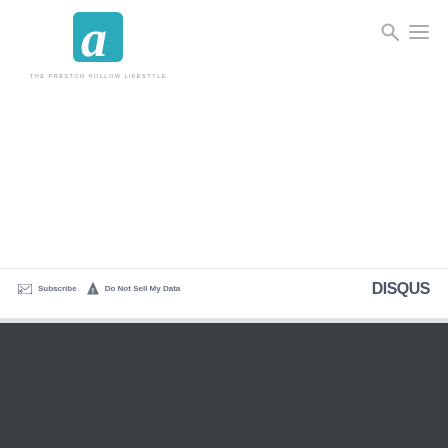[Figure (logo): Areal Media 'a' logo in teal square with tagline THE PRESTON HOLLOW LIFESTYLE below]
[Figure (logo): Search icon (magnifying glass) and hamburger menu icon in gray, top right navigation]
Subscribe  Do Not Sell My Data
[Figure (logo): DISQUS logo in dark gray bold text]
[Figure (other): Dark gray footer bar background]